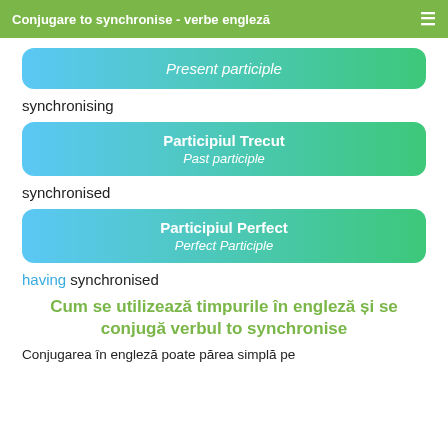Conjugare to synchronise - verbe engleză
Present participle
synchronising
Participiul Trecut
Past participle
synchronised
Participiul Perfect
Perfect Participle
having synchronised
Cum se utilizează timpurile în engleză și se conjugă verbul to synchronise
Conjugarea în engleză poate părea simplă pe